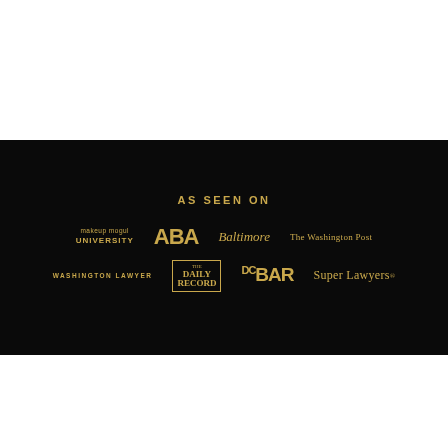[Figure (infographic): Black banner on white background. Header text 'AS SEEN ON' in gold, followed by two rows of gold publication/organization logos: Row 1: makeup mogul UNIVERSITY, ABA, Baltimore, The Washington Post. Row 2: WASHINGTON LAWYER, The Daily Record, DCBAR, Super Lawyers.]